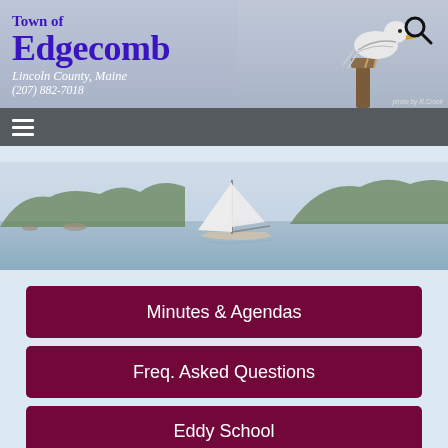Town of Edgecomb
Lincoln County, Maine
(207) 882-7018
[Figure (photo): Seagull perched on a wooden post, header photo]
[Figure (photo): Sailboat on a calm bay with wooded shorelines in the background]
Minutes & Agendas
Freq. Asked Questions
Eddy School